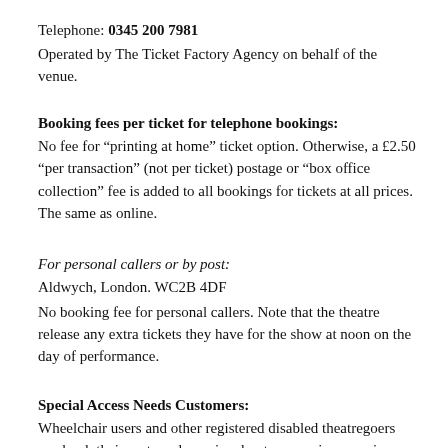Telephone: 0345 200 7981
Operated by The Ticket Factory Agency on behalf of the venue.
Booking fees per ticket for telephone bookings:
No fee for “printing at home” ticket option. Otherwise, a £2.50 “per transaction” (not per ticket) postage or “box office collection” fee is added to all bookings for tickets at all prices. The same as online.
For personal callers or by post:
Aldwych, London. WC2B 4DF
No booking fee for personal callers. Note that the theatre release any extra tickets they have for the show at noon on the day of performance.
Special Access Needs Customers:
Wheelchair users and other registered disabled theatregoers can book their seats and enquire about concessionary prices that